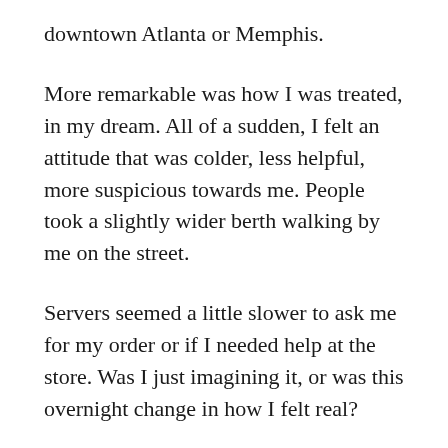downtown Atlanta or Memphis.
More remarkable was how I was treated, in my dream. All of a sudden, I felt an attitude that was colder, less helpful, more suspicious towards me. People took a slightly wider berth walking by me on the street.
Servers seemed a little slower to ask me for my order or if I needed help at the store. Was I just imagining it, or was this overnight change in how I felt real?
And then, I began to think about who I was... nothing about me had changed — I was the same person in every way — except that my